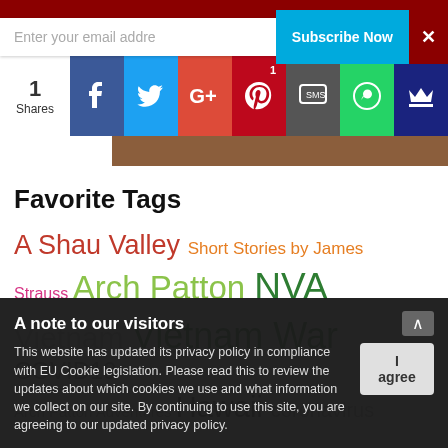[Figure (screenshot): Social share bar with Facebook, Twitter, Google+, Pinterest (1 share), SMS, WhatsApp, and crown/bookmark icons. Shows '1 Shares' count on left.]
Favorite Tags
A Shau Valley  Short Stories by James  Strauss  Arch Patton  NVA  Vietnam  Vietnam War  COVID19  Arch Patton Adventures  Hawaii  coronavirus
A note to our visitors
This website has updated its privacy policy in compliance with EU Cookie legislation. Please read this to review the updates about which cookies we use and what information we collect on our site. By continuing to use this site, you are agreeing to our updated privacy policy.